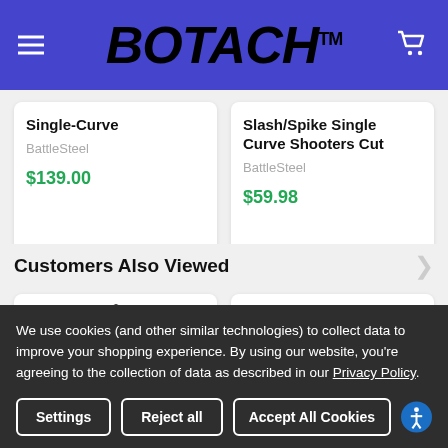BOTACH™
Single-Curve
BattleSteel
$139.00
Slash/Spike Single Curve Shooters Cut
BattleSteel
$59.98
Customers Also Viewed
[Figure (photo): Product thumbnail showing a dark hexagonal object]
[Figure (photo): Product thumbnail with yellow chevron/banner shape]
We use cookies (and other similar technologies) to collect data to improve your shopping experience. By using our website, you're agreeing to the collection of data as described in our Privacy Policy.
Settings   Reject all   Accept All Cookies